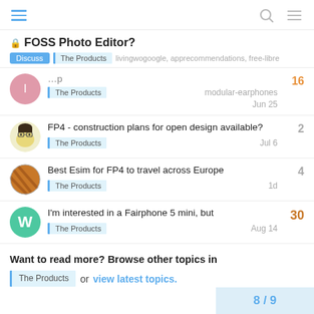Navigation bar with hamburger menu, search and menu icons
🔒 FOSS Photo Editor?
Discuss | The Products | livingwogoogle, apprecommendations, free-libre
[The Products] modular-earphones — 16 — Jun 25
FP4 - construction plans for open design available? [The Products] — 2 — Jul 6
Best Esim for FP4 to travel across Europe [The Products] — 4 — 1d
I'm interested in a Fairphone 5 mini, but [The Products] — 30 — Aug 14
Want to read more? Browse other topics in The Products or view latest topics.
8 / 9